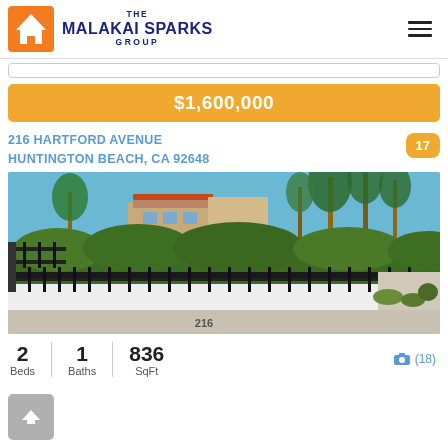THE MALAKAI SPARKS GROUP
$1,600,000
216 HARTFORD AVENUE HUNTINGTON BEACH, CA 92648
[Figure (photo): Exterior photo of 216 Hartford Avenue, Huntington Beach. Shows a white stucco wall with address number 216, black iron fencing, tall green hedge, palm trees, and a Mediterranean-style house in the background under a clear blue sky.]
2 Beds  1 Baths  836 SqFt  (18)